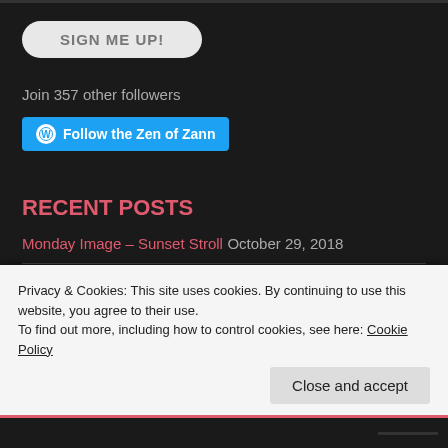SIGN ME UP!
Join 357 other followers
Follow the Zen of Zann
RECENT POSTS
Monday Image – Sunset Stroll October 29, 2018
Friday Foto – Elephant Butte Lake, New Mexico October 26, 2018
Big Changes, New Content – Elephant Butte Lake, New Mexico
Privacy & Cookies: This site uses cookies. By continuing to use this website, you agree to their use. To find out more, including how to control cookies, see here: Cookie Policy
Close and accept